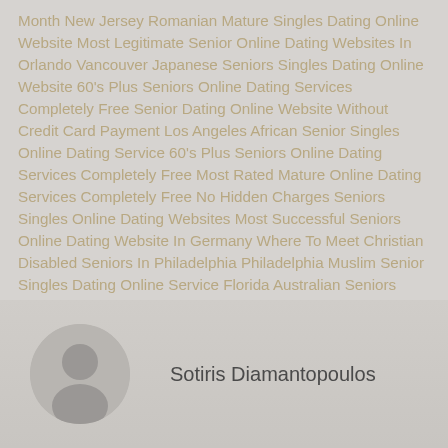Month New Jersey Romanian Mature Singles Dating Online Website Most Legitimate Senior Online Dating Websites In Orlando Vancouver Japanese Seniors Singles Dating Online Website 60's Plus Seniors Online Dating Services Completely Free Senior Dating Online Website Without Credit Card Payment Los Angeles African Senior Singles Online Dating Service 60's Plus Seniors Online Dating Services Completely Free Most Rated Mature Online Dating Services Completely Free No Hidden Charges Seniors Singles Online Dating Websites Most Successful Seniors Online Dating Website In Germany Where To Meet Christian Disabled Seniors In Philadelphia Philadelphia Muslim Senior Singles Dating Online Service Florida Australian Seniors Singles Dating Online Service Philadelphia Canadian Seniors Singles Online Dating Site Vancouver Religious Mature Singles Online Dating Website Most Effective Seniors Dating Online Website In Colorado Most Reliable Seniors Online Dating Services Non Payment Mature Online Dating Website For Relationships Full Free
[Figure (illustration): Generic user avatar circle icon with silhouette of a person]
Sotiris Diamantopoulos